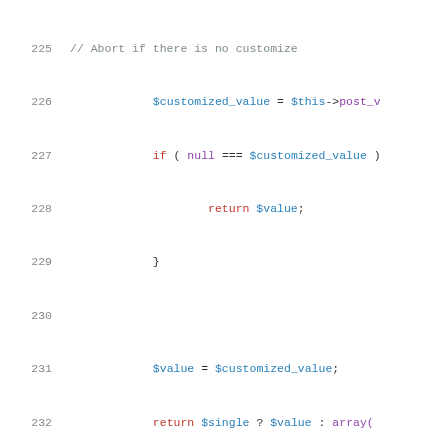[Figure (screenshot): PHP source code snippet showing lines 225-247 of a WordPress customizer class. Lines include variable assignments, conditionals, return statements, a JSDoc comment block, and a protected function definition. Syntax highlighted with red keywords, blue variables, purple method names, and gray comments.]